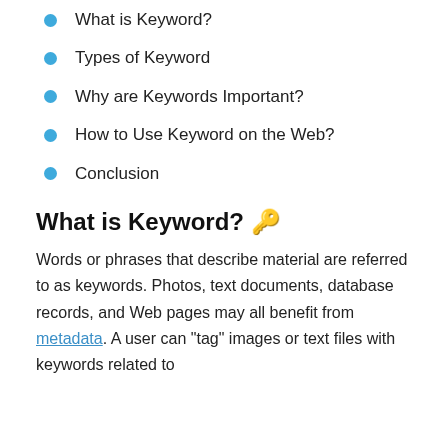What is Keyword?
Types of Keyword
Why are Keywords Important?
How to Use Keyword on the Web?
Conclusion
What is Keyword? 🔑
Words or phrases that describe material are referred to as keywords. Photos, text documents, database records, and Web pages may all benefit from metadata. A user can "tag" images or text files with keywords related to